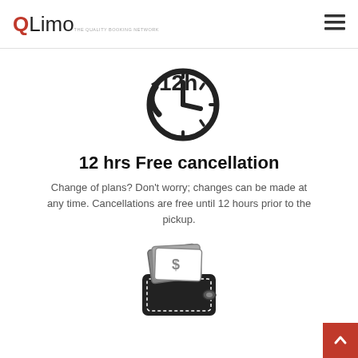QLimo — The Quality Booking Network
[Figure (illustration): Clock icon with '12h' text and circular arrow, representing 12-hour free cancellation policy]
12 hrs Free cancellation
Change of plans? Don't worry; changes can be made at any time. Cancellations are free until 12 hours prior to the pickup.
[Figure (illustration): Wallet with cash/dollar bills icon]